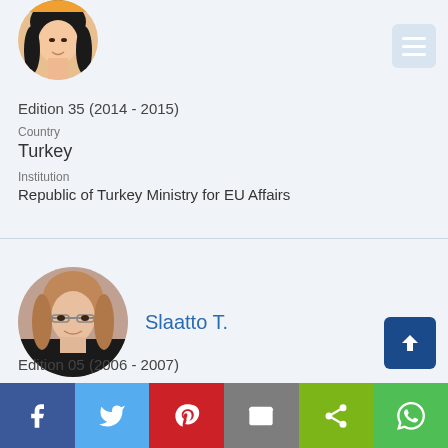[Figure (photo): Circular profile photo of a woman with dark hair, partially visible at top of page]
Edition 35 (2014 - 2015)
Country
Turkey
Institution
Republic of Turkey Ministry for EU Affairs
[Figure (photo): Circular profile photo of Slaatto T., a woman with short brownish hair and glasses, smiling]
Slaatto T.
Edition 05 (2006 - 2007)